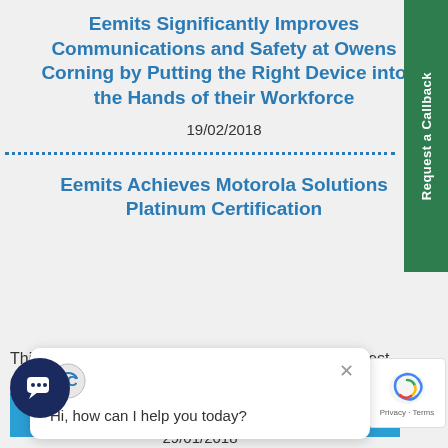Eemits Significantly Improves Communications and Safety at Owens Corning by Putting the Right Device into the Hands of their Workforce
19/02/2018
Eemits Achieves Motorola Solutions Platinum Certification
This website uses cookies to ensure you get the best experience on our website.
Hi, how can I help you today?
Got it!
29/01/2018
Request a Callback